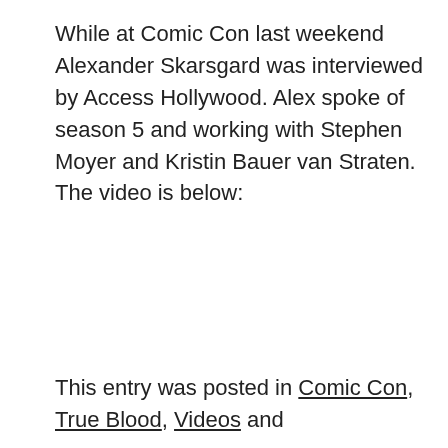While at Comic Con last weekend Alexander Skarsgard was interviewed by Access Hollywood. Alex spoke of season 5 and working with Stephen Moyer and Kristin Bauer van Straten. The video is below:
This entry was posted in Comic Con, True Blood, Videos and